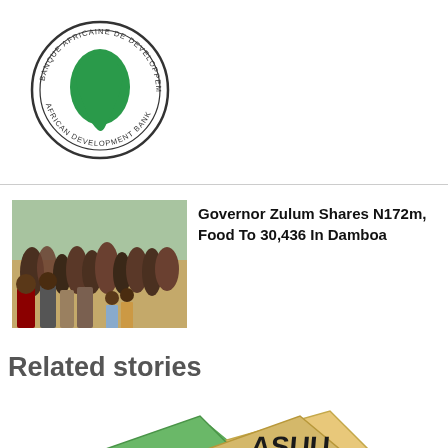[Figure (logo): African Development Bank circular logo with green Africa map silhouette and text around the border reading BANQUE AFRICAINE DE DEVELOPPEMENT / AFRICAN DEVELOPMENT BANK]
[Figure (photo): Photograph of Governor Zulum and crowd of people outdoors in a field]
Governor Zulum Shares N172m, Food To 30,436 In Damboa
Related stories
[Figure (illustration): Illustration showing ASUU STRIKE text on books/papers with graduation cap, cartoon style]